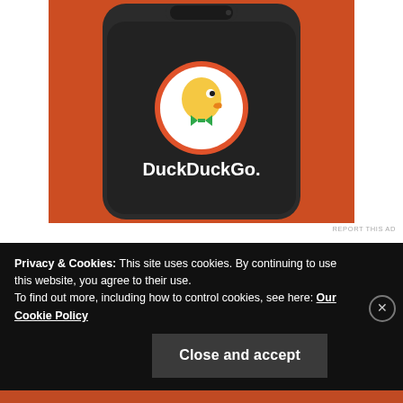[Figure (photo): DuckDuckGo app logo on a smartphone with orange background]
REPORT THIS AD
I enjoyed getting my hair cut at her studio, a small one-barber chair room with a door and soothing yellow walls and tasteful decorations. I always felt relaxed in there, unlike when I got my hair cut in a busy mall salon
Privacy & Cookies: This site uses cookies. By continuing to use this website, you agree to their use.
To find out more, including how to control cookies, see here: Our Cookie Policy
Close and accept